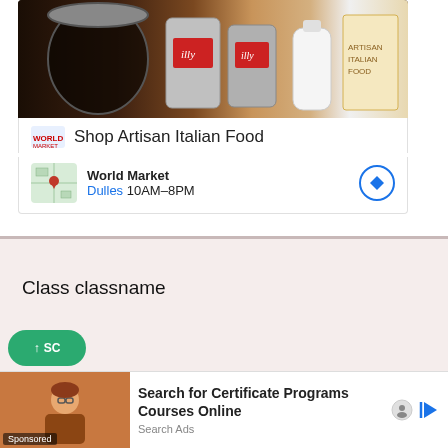[Figure (photo): Advertisement showing Italian food products (illy coffee cans, glass jars with coffee beans, milk bottle) on a wooden shelf]
Shop Artisan Italian Food
World Market
Dulles 10AM–8PM
Class classname
{
..........;
..........;
Public:
Class name (parameter list)
{
[Figure (photo): Bottom advertisement: Search for Certificate Programs Courses Online – Search Ads. Sponsored ad with image of a woman.]